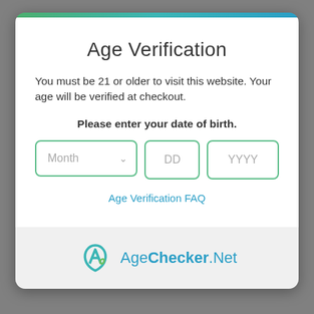Age Verification
You must be 21 or older to visit this website. Your age will be verified at checkout.
Please enter your date of birth.
[Figure (screenshot): Date of birth input fields: Month dropdown, DD text field, YYYY text field]
Age Verification FAQ
[Figure (logo): AgeChecker.Net logo with teal A-shaped icon and text AgeChecker.Net]